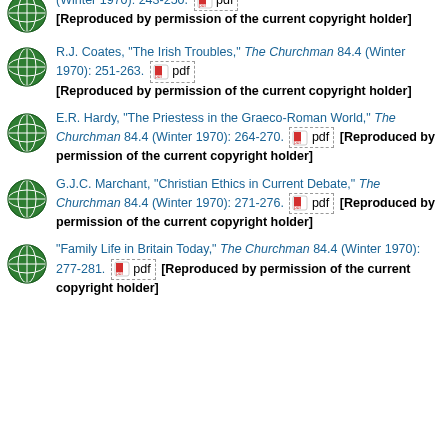(Winter 1970): 243-250. [pdf] [Reproduced by permission of the current copyright holder]
R.J. Coates, "The Irish Troubles," The Churchman 84.4 (Winter 1970): 251-263. [pdf] [Reproduced by permission of the current copyright holder]
E.R. Hardy, "The Priestess in the Graeco-Roman World," The Churchman 84.4 (Winter 1970): 264-270. [pdf] [Reproduced by permission of the current copyright holder]
G.J.C. Marchant, "Christian Ethics in Current Debate," The Churchman 84.4 (Winter 1970): 271-276. [pdf] [Reproduced by permission of the current copyright holder]
"Family Life in Britain Today," The Churchman 84.4 (Winter 1970): 277-281. [pdf] [Reproduced by permission of the current copyright holder]